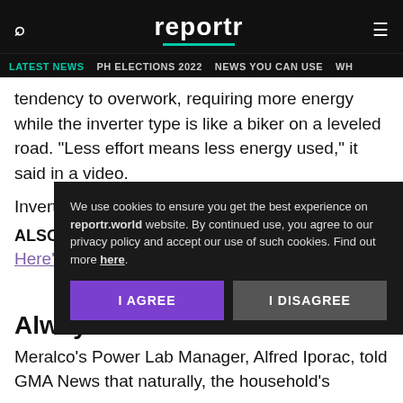reportr — LATEST NEWS | PH ELECTIONS 2022 | NEWS YOU CAN USE
tendency to overwork, requiring more energy while the inverter type is like a biker on a leveled road. "Less effort means less energy used," it said in a video.
Inverter techno... appliances runn...
ALSO READ
Here's Your Com...
We use cookies to ensure you get the best experience on reportr.world website. By continued use, you agree to our privacy policy and accept our use of such cookies. Find out more here.
Always on aircon or on-off?
Meralco's Power Lab Manager, Alfred Iporac, told GMA News that naturally, the household's